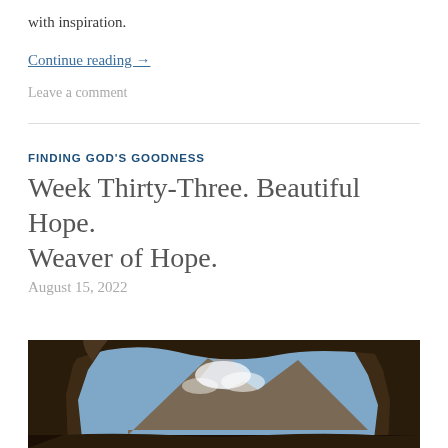with inspiration.
Continue reading →
Leave a comment
FINDING GOD'S GOODNESS
Week Thirty-Three. Beautiful Hope. Weaver of Hope.
August 15, 2022
[Figure (photo): A mountain with clouds viewed through a rocky cave or stone arch opening, blue sky visible.]